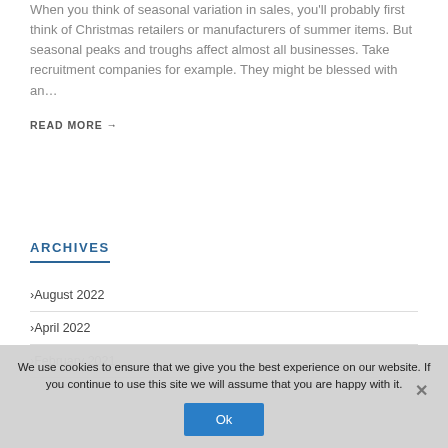When you think of seasonal variation in sales, you'll probably first think of Christmas retailers or manufacturers of summer items. But seasonal peaks and troughs affect almost all businesses. Take recruitment companies for example. They might be blessed with an…
READ MORE →
ARCHIVES
August 2022
April 2022
February 2021
We use cookies to ensure that we give you the best experience on our website. If you continue to use this site we will assume that you are happy with it.